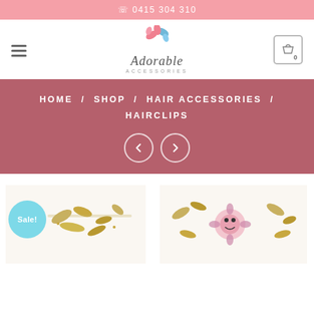☎ 0415 304 310
[Figure (logo): Adorable Accessories logo with pink and blue leaf/flower motif above the stylized text 'Adorable ACCESSORIES']
HOME / SHOP / HAIR ACCESSORIES / HAIRCLIPS
[Figure (illustration): Navigation previous and next arrow buttons (circle outlines with < and > chevrons)]
[Figure (photo): Two product images showing hairclips with gold floral pattern on white background (left) and hairclips with colorful floral pattern on white background (right). Left product has a 'Sale!' badge.]